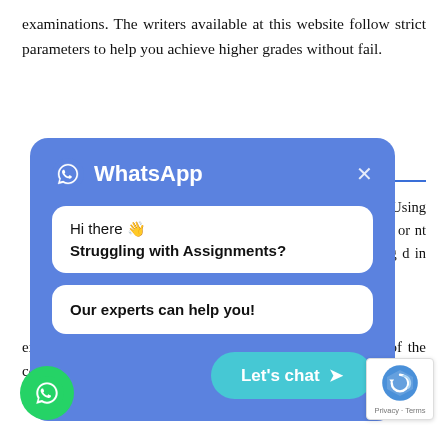examinations. The writers available at this website follow strict parameters to help you achieve higher grades without fail.
w
f accounting that ansactions. Using ns are recorded, ancial report or nt or a balance ncial accounting d in this matter.
[Figure (screenshot): WhatsApp chat popup overlay with blue background, showing WhatsApp logo and title, two white chat bubbles ('Hi there 👋 Struggling with Assignments?' and 'Our experts can help you!'), a close (×) button, and a teal 'Let's chat ➤' button.]
external because they are published for the people outside of the company with ain recipients being owners, stockholders, and investors. If a company's stock is publicly traded, how